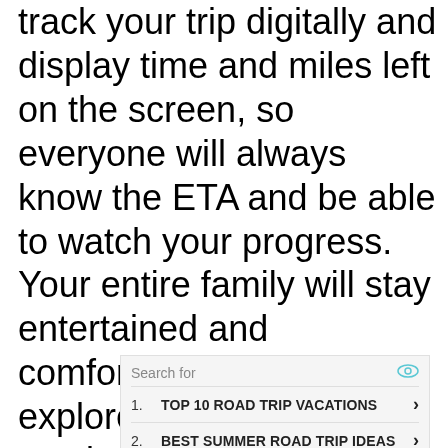track your trip digitally and display time and miles left on the screen, so everyone will always know the ETA and be able to watch your progress. Your entire family will stay entertained and comfortable as you explore the world around you in style in your Range Rover.
Search for
1. TOP 10 ROAD TRIP VACATIONS
2. BEST SUMMER ROAD TRIP IDEAS